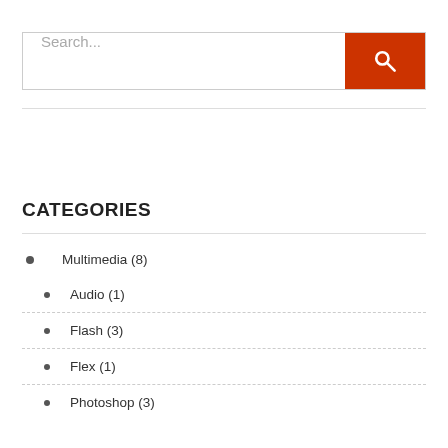[Figure (screenshot): Search bar with text input 'Search...' and a red search button with magnifying glass icon]
CATEGORIES
Multimedia (8)
Audio (1)
Flash (3)
Flex (1)
Photoshop (3)